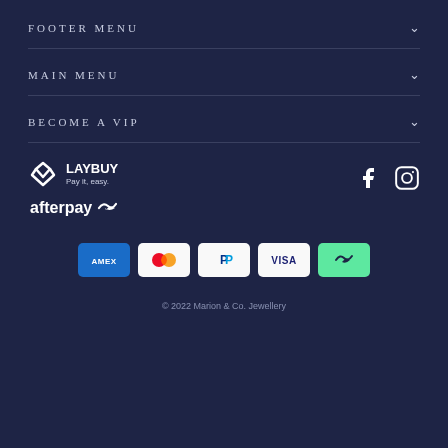FOOTER MENU
MAIN MENU
BECOME A VIP
[Figure (logo): Laybuy logo with heart-check icon and tagline 'Pay it, easy.' and Afterpay logo]
[Figure (logo): Facebook and Instagram social media icons]
[Figure (logo): Payment method icons: AMEX, Mastercard, PayPal, VISA, Afterpay]
© 2022 Marion & Co. Jewellery